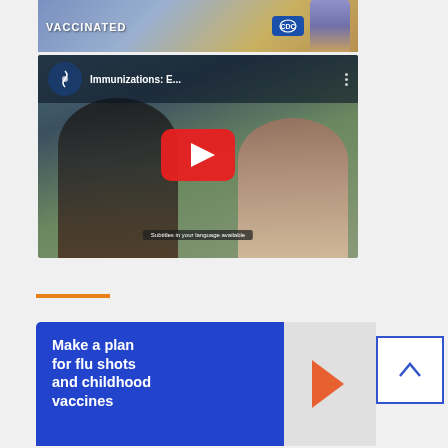[Figure (screenshot): CDC vaccination animated character thumbnail at top]
[Figure (screenshot): YouTube video thumbnail for 'Immunizations: E...' showing two smiling people with YouTube play button overlay]
[Figure (illustration): Orange horizontal rule/divider line]
[Figure (infographic): Blue banner reading 'Make a plan for flu shots and childhood vaccines' with orange arrow chevron and scroll-up button]